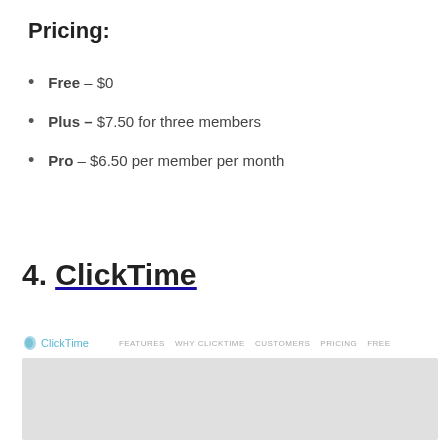Pricing:
Free – $0
Plus – $7.50 for three members
Pro – $6.50 per member per month
4. ClickTime
[Figure (screenshot): ClickTime website screenshot showing logo, navigation links (FEATURES, WHY CLICKTIME, CUSTOMERS, PRICING, FREE), and a light gray content area below.]